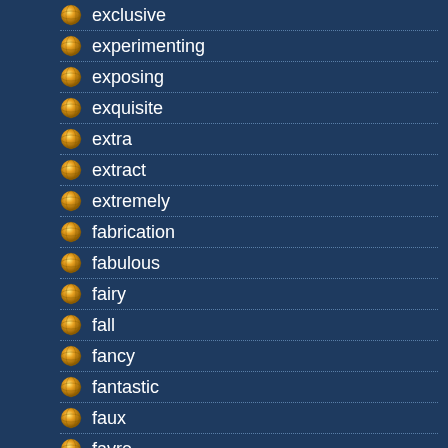exclusive
experimenting
exposing
exquisite
extra
extract
extremely
fabrication
fabulous
fairy
fall
fancy
fantastic
faux
favre